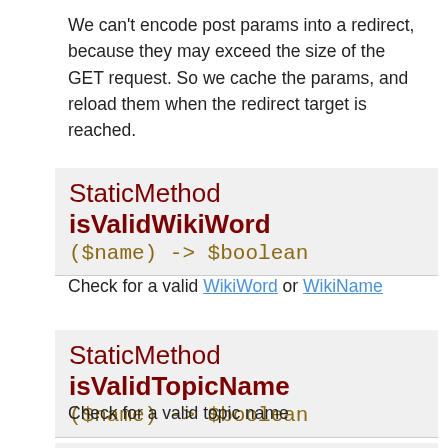We can't encode post params into a redirect, because they may exceed the size of the GET request. So we cache the params, and reload them when the redirect target is reached.
StaticMethod isValidWikiWord ($name) -> $boolean
Check for a valid WikiWord or WikiName
StaticMethod isValidTopicName ($name) -> $boolean
Check for a valid topic name
StaticMethod isValidAbbrev ($name) -> $boolean